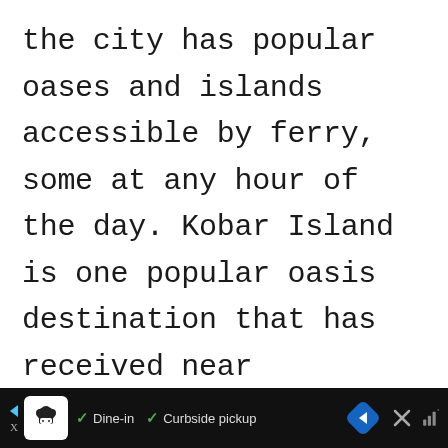the city has popular oases and islands accessible by ferry, some at any hour of the day. Kobar Island is one popular oasis destination that has received near universal acclaim for its secluded, yet increasingly popular, sense of serene beauty. There are relaxing terraces as well as beaches, both contributing to its unique atmosphere. Within the
[Figure (screenshot): Mobile app advertisement banner at the bottom of the screen showing a restaurant/food delivery service ad with chef icon, checkmarks for 'Dine-in' and 'Curbside pickup', a blue navigation arrow icon, and a close button, on a dark/black background.]